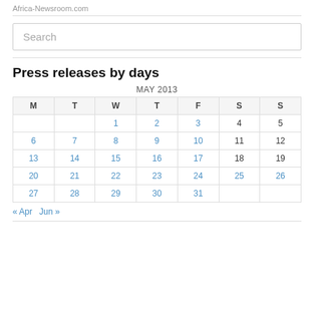Africa-Newsroom.com
Search
Press releases by days
| M | T | W | T | F | S | S |
| --- | --- | --- | --- | --- | --- | --- |
|  |  | 1 | 2 | 3 | 4 | 5 |
| 6 | 7 | 8 | 9 | 10 | 11 | 12 |
| 13 | 14 | 15 | 16 | 17 | 18 | 19 |
| 20 | 21 | 22 | 23 | 24 | 25 | 26 |
| 27 | 28 | 29 | 30 | 31 |  |  |
« Apr   Jun »